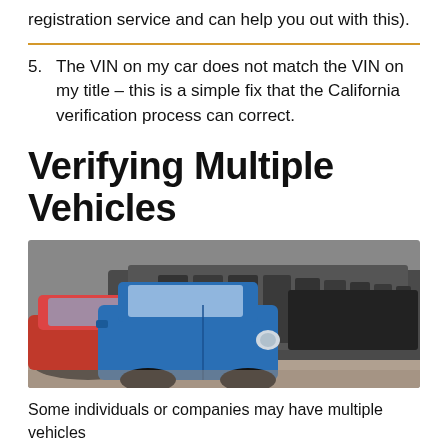registration service and can help you out with this).
5. The VIN on my car does not match the VIN on my title – this is a simple fix that the California verification process can correct.
Verifying Multiple Vehicles
[Figure (photo): A row of cars parked side by side in a car lot, including a prominent blue car and red car in the foreground, with many dark-colored cars extending into the background.]
Some individuals or companies may have multiple vehicles